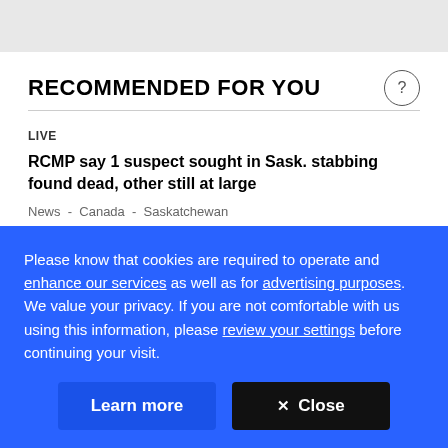RECOMMENDED FOR YOU
LIVE
RCMP say 1 suspect sought in Sask. stabbing found dead, other still at large
News - Canada - Saskatchewan
Provincewide dangerous persons alert issued after shots...
Please know that cookies are required to operate and enhance our services as well as for advertising purposes. We value your privacy. If you are not comfortable with us using this information, please review your settings before continuing your visit.
Learn more
✕ Close